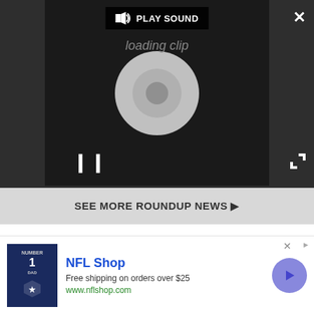[Figure (screenshot): Video player in dark background showing a loading spinner, play sound button, pause button, and close/expand controls]
SEE MORE ROUNDUP NEWS ▶
MORE ABOUT PRO
LATEST
[Figure (photo): DJ at turntables with festival crowd and golden light bokeh]
[Figure (photo): Two young women looking at a red object in a crowd]
[Figure (other): NFL Shop advertisement banner: Free shipping on orders over $25, www.nflshop.com]